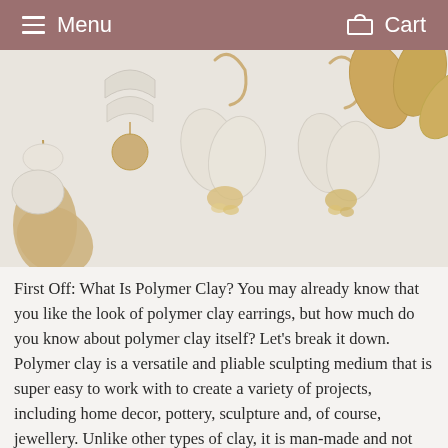Menu   Cart
[Figure (photo): Photo of handmade polymer clay and gold metal earrings arranged on a white surface. White pearlescent leaf/petal shaped clay pieces combined with gold brass hardware and crystal charms. Various styles visible including dangles and statement pieces.]
First Off: What Is Polymer Clay? You may already know that you like the look of polymer clay earrings, but how much do you know about polymer clay itself? Let's break it down. Polymer clay is a versatile and pliable sculpting medium that is super easy to work with to create a variety of projects, including home decor, pottery, sculpture and, of course, jewellery. Unlike other types of clay, it is man-made and not natural. Composed of polymers,